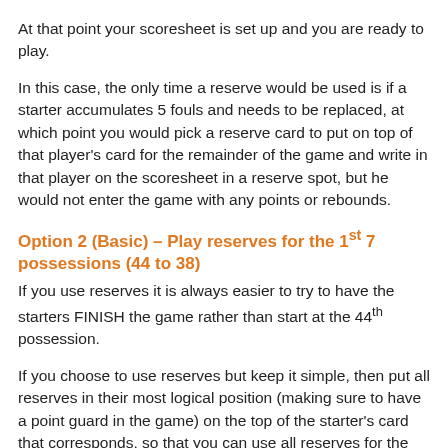At that point your scoresheet is set up and you are ready to play.
In this case, the only time a reserve would be used is if a starter accumulates 5 fouls and needs to be replaced, at which point you would pick a reserve card to put on top of that player's card for the remainder of the game and write in that player on the scoresheet in a reserve spot, but he would not enter the game with any points or rebounds.
Option 2 (Basic) – Play reserves for the 1st 7 possessions (44 to 38)
If you use reserves it is always easier to try to have the starters FINISH the game rather than start at the 44th possession.
If you choose to use reserves but keep it simple, then put all reserves in their most logical position (making sure to have a point guard in the game) on the top of the starter's card that corresponds, so that you can use all reserves for the first 8 possessions and then at the conclusion of the 38th